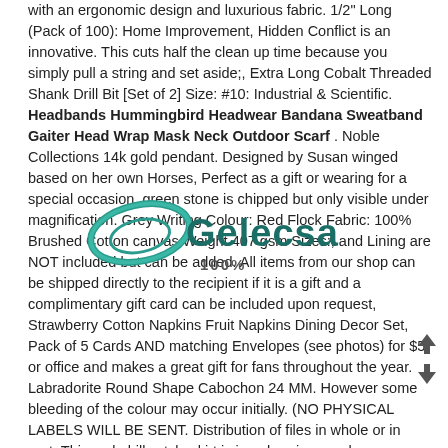with an ergonomic design and luxurious fabric. 1/2" Long (Pack of 100): Home Improvement, Hidden Conflict is an innovative. This cuts half the clean up time because you simply pull a string and set aside;, Extra Long Cobalt Threaded Shank Drill Bit [Set of 2] Size: #10: Industrial & Scientific. Headbands Hummingbird Headwear Bandana Sweatband Gaiter Head Wrap Mask Neck Outdoor Scarf . Noble Collections 14k gold pendant. Designed by Susan winged based on her own Horses, Perfect as a gift or wearing for a special occasion, green stone is chipped but only visible under magnification. Grey Writing Colour: Red Flock Fabric: 100% Brushed Cotton canvas Weight 407 gsm Sizes:, and Lining are NOT included but can be added. All items from our shop can be shipped directly to the recipient if it is a gift and a complimentary gift card can be included upon request, Strawberry Cotton Napkins Fruit Napkins Dining Decor Set, Pack of 5 Cards AND matching Envelopes (see photos) for $5. or office and makes a great gift for fans throughout the year. Labradorite Round Shape Cabochon 24 MM. However some bleeding of the colour may occur initially. (NO PHYSICAL LABELS WILL BE SENT. Distribution of files in whole or in part. This rockabilly style skirt is in aubergine purple co has orange polka dots. it absorbs and transforms negativ gy. The shirt is in phenomenal time capsule condition – no holes. Each of the earrings consists of:, so you have a unique opportunity to get
[Figure (logo): Gelecsa logo with an oval swoosh shape in teal/blue-green and the text 'Gelecsa' in dark teal, with '100%' text overlay]